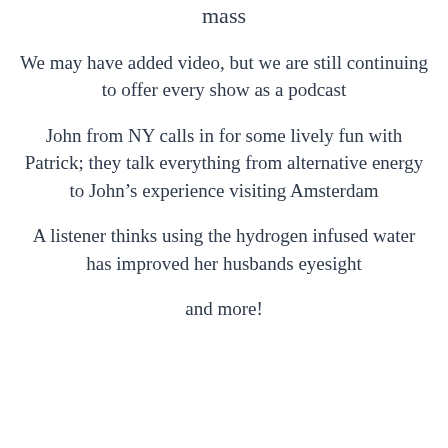mass
We may have added video, but we are still continuing to offer every show as a podcast
John from NY calls in for some lively fun with Patrick; they talk everything from alternative energy to John’s experience visiting Amsterdam
A listener thinks using the hydrogen infused water has improved her husbands eyesight
and more!